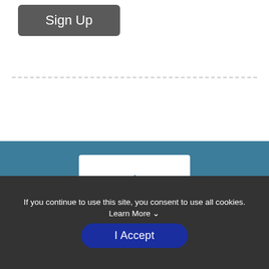Sign Up
[Figure (logo): St. Ignatius of Loyola 75 Years logo with blue flame]
Race Info
Find a Participant
If you continue to use this site, you consent to use all cookies. Learn More ˅
I Accept